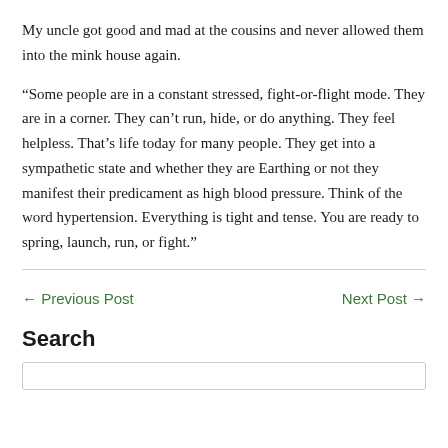My uncle got good and mad at the cousins and never allowed them into the mink house again.
“Some people are in a constant stressed, fight-or-flight mode. They are in a corner. They can’t run, hide, or do anything. They feel helpless. That’s life today for many people. They get into a sympathetic state and whether they are Earthing or not they manifest their predicament as high blood pressure. Think of the word hypertension. Everything is tight and tense. You are ready to spring, launch, run, or fight.”
← Previous Post
Next Post →
Search